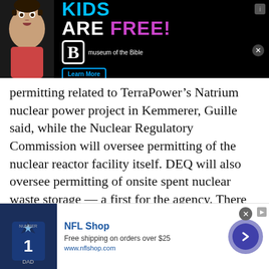[Figure (other): Top banner advertisement: Kids Are Free at Museum of the Bible. Shows a child's face on left, large text 'KIDS ARE FREE!' in blue and purple on black background, Museum of the Bible logo, and a Learn More button.]
permitting related to TerraPower’s Natrium nuclear power project in Kemmerer, Guille said, while the Nuclear Regulatory Commission will oversee permitting of the nuclear reactor facility itself. DEQ will also oversee permitting of onsite spent nuclear waste storage — a first for the agency. There are no plans currently to add special expertise to take on those permitting and oversight tasks, Guille said.
DEQ’s proposed budget, approved by Gordon and awaiting legislative approval, includes a request
[Figure (other): Bottom banner advertisement for NFL Shop. Shows a Dallas Cowboys jersey on dark blue background, text 'NFL Shop', 'Free shipping on orders over $25', 'www.nflshop.com', and a purple arrow button on the right.]